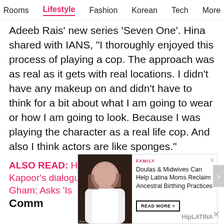Rooms  Lifestyle  Fashion  Korean  Tech  More
Adeeb Rais' new series 'Seven One'. Hina shared with IANS, "I thoroughly enjoyed this process of playing a cop. The approach was as real as it gets with real locations. I didn't have any makeup on and didn't have to think for a bit about what I am going to wear or how I am going to look. Because I was playing the character as a real life cop. And also I think actors are like sponges."
ALSO READ: Hina Khan mimics Kareena Kapoor's dialogue from Kabhi Khushi Kabhie Gham; Asks 'Is
Comm
[Figure (screenshot): Advertisement banner: FAMILY category. Doulas & Midwives Can Help Latina Moms Reclaim Ancestral Birthing Practices. READ MORE > HipLATINA. With photo of woman in white dress.]